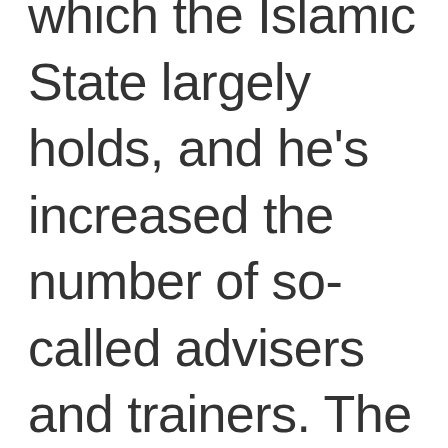which the Islamic State largely holds, and he's increased the number of so-called advisers and trainers. The